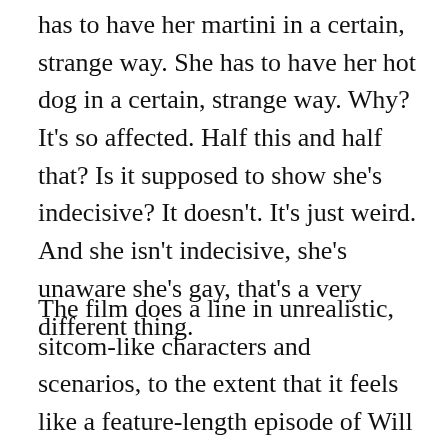has to have her martini in a certain, strange way. She has to have her hot dog in a certain, strange way. Why? It's so affected. Half this and half that? Is it supposed to show she's indecisive? It doesn't. It's just weird. And she isn't indecisive, she's unaware she's gay, that's a very different thing.
The film does a line in unrealistic, sitcom-like characters and scenarios, to the extent that it feels like a feature-length episode of Will & Grace. With the exception of the amazing-as-always Molly Shannon, the other side characters are exceptionally weird. Alan Cumming is unnecessary and Sissy Spacek, as